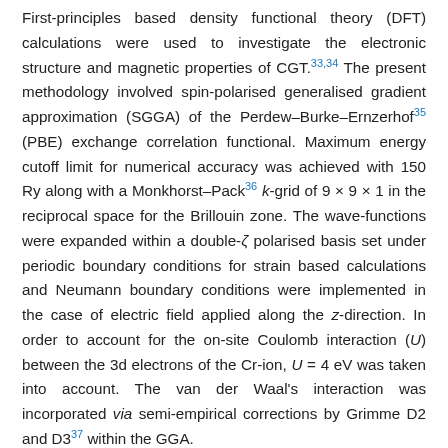First-principles based density functional theory (DFT) calculations were used to investigate the electronic structure and magnetic properties of CGT.33,34 The present methodology involved spin-polarised generalised gradient approximation (SGGA) of the Perdew–Burke–Ernzerhof35 (PBE) exchange correlation functional. Maximum energy cutoff limit for numerical accuracy was achieved with 150 Ry along with a Monkhorst–Pack36 k-grid of 9 × 9 × 1 in the reciprocal space for the Brillouin zone. The wave-functions were expanded within a double-ζ polarised basis set under periodic boundary conditions for strain based calculations and Neumann boundary conditions were implemented in the case of electric field applied along the z-direction. In order to account for the on-site Coulomb interaction (U) between the 3d electrons of the Cr-ion, U = 4 eV was taken into account. The van der Waal's interaction was incorporated via semi-empirical corrections by Grimme D2 and D3 37 within the GGA.
CGT belongs to space group 162 (P3̄1m) having a hexagonal lattice structure with optimised lattice constants of a0 = b0 = 6.8275 Å.